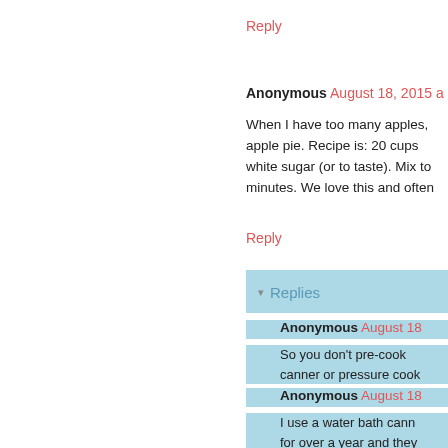Reply
Anonymous August 18, 2015
When I have too many apples, apple pie. Recipe is: 20 cups white sugar (or to taste). Mix to minutes. We love this and often
Reply
Replies
Anonymous August 18
So you don't pre-cook canner or pressure cook
Anonymous August 18
I use a water bath cann for over a year and they